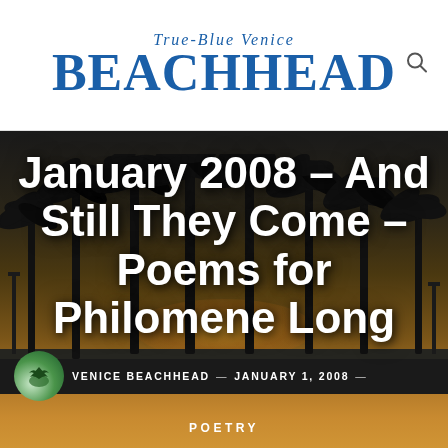True-Blue Venice BEACHHEAD
[Figure (photo): Hero image showing Venice Beach at sunset/dusk with palm tree silhouettes against an orange and dark sky, serving as background for article title]
January 2008 – And Still They Come – Poems for Philomene Long
VENICE BEACHHEAD — JANUARY 1, 2008 — POETRY